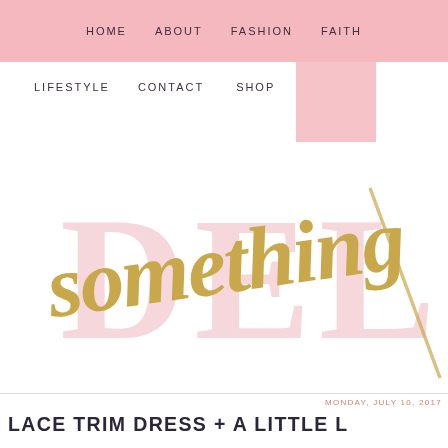HOME   ABOUT   FASHION   FAITH
LIFESTYLE   CONTACT   SHOP
[Figure (logo): Blog logo: 'something' in gold cursive script overlaid on 'DELI' in large light pink serif letters, partially cropped on the right]
MONDAY, JULY 10, 2017
LACE TRIM DRESS + A LITTLE L